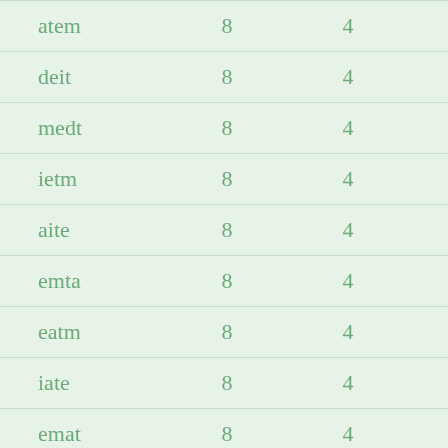| atem | 8 | 4 |
| deit | 8 | 4 |
| medt | 8 | 4 |
| ietm | 8 | 4 |
| aite | 8 | 4 |
| emta | 8 | 4 |
| eatm | 8 | 4 |
| iate | 8 | 4 |
| emat | 8 | 4 |